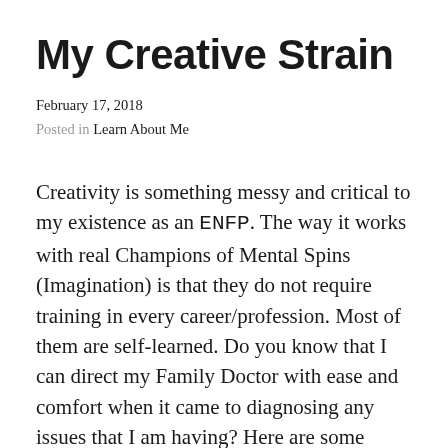My Creative Strain
February 17, 2018
Posted in Learn About Me
Creativity is something messy and critical to my existence as an ENFP. The way it works with real Champions of Mental Spins (Imagination) is that they do not require training in every career/profession. Most of them are self-learned. Do you know that I can direct my Family Doctor with ease and comfort when it came to diagnosing any issues that I am having? Here are some careers that I easily relate to not because I am trained in all of them but because I have lots of training material